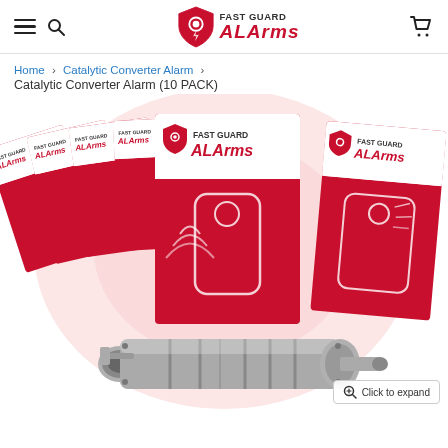Fast Guard Alarms — navigation header with hamburger menu, search, logo, and cart icon
Home > Catalytic Converter Alarm > Catalytic Converter Alarm (10 PACK)
[Figure (photo): 10-pack of Fast Guard Alarms catalytic converter alarm product boxes arranged in a fan display, with a silver catalytic converter in the foreground. Boxes are red and white with the Fast Guard Alarms logo and an alarm device graphic.]
Click to expand